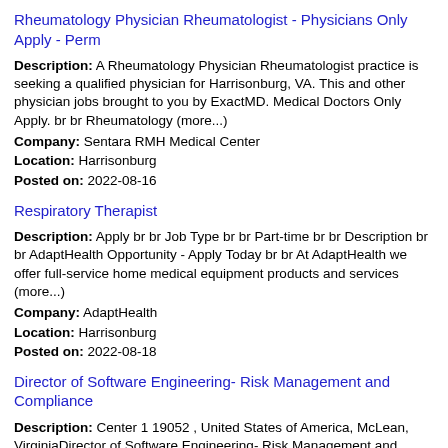Rheumatology Physician Rheumatologist - Physicians Only Apply - Perm
Description: A Rheumatology Physician Rheumatologist practice is seeking a qualified physician for Harrisonburg, VA. This and other physician jobs brought to you by ExactMD. Medical Doctors Only Apply. br br Rheumatology (more...)
Company: Sentara RMH Medical Center
Location: Harrisonburg
Posted on: 2022-08-16
Respiratory Therapist
Description: Apply br br Job Type br br Part-time br br Description br br AdaptHealth Opportunity - Apply Today br br At AdaptHealth we offer full-service home medical equipment products and services (more...)
Company: AdaptHealth
Location: Harrisonburg
Posted on: 2022-08-18
Director of Software Engineering- Risk Management and Compliance
Description: Center 1 19052 , United States of America, McLean, VirginiaDirector of Software Engineering- Risk Management and ComplianceWe are attempting something unique and unprecedented at Capital One that will (more...)